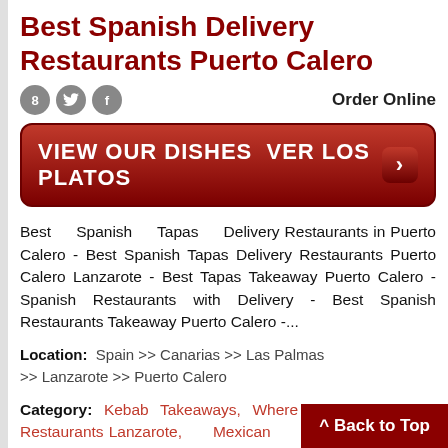Best Spanish Delivery Restaurants Puerto Calero
[Figure (infographic): Social media icons (Google+, Twitter, Facebook) and 'Order Online' text, followed by a red button reading 'VIEW OUR DISHES VER LOS PLATOS' with an arrow]
Best Spanish Tapas Delivery Restaurants in Puerto Calero - Best Spanish Tapas Delivery Restaurants Puerto Calero Lanzarote - Best Tapas Takeaway Puerto Calero - Spanish Restaurants with Delivery - Best Spanish Restaurants Takeaway Puerto Calero -...
Location: Spain >> Canarias >> Las Palmas >> Lanzarote >> Puerto Calero
Category: Kebab Takeaways, Where The Local Eat - Restaurants Lanzarote, Mexican Restaurants Puerto Calero, Chinese Restaurants Puerto Calero, Burger Restaurants